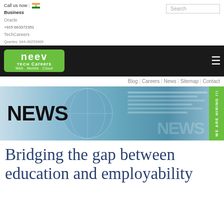Call us now : [India Flag] Business Oracle +915 663372351 TechCareers Web . Mobile . Cloud Queries: 044-49253909
[Figure (logo): Neev TechCareers logo - green rounded rectangle with white text 'neev TECH Careers Web . Mobile . Cloud']
Blog | Careers | News | Sitemap | Contact
[Figure (photo): News banner image showing newspapers and globe with 'NEWS' text in large bold font on left side and a 'WE ARE HIRING !!!' green badge on right side]
Bridging the gap between education and employability